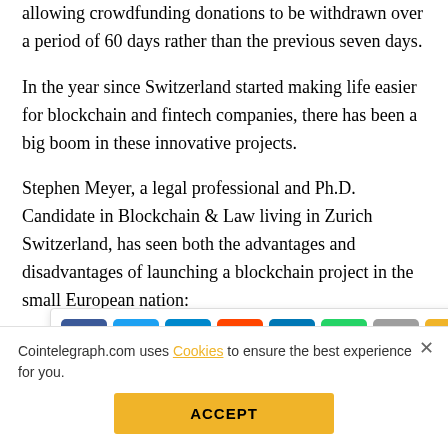allowing crowdfunding donations to be withdrawn over a period of 60 days rather than the previous seven days.
In the year since Switzerland started making life easier for blockchain and fintech companies, there has been a big boom in these innovative projects.
Stephen Meyer, a legal professional and Ph.D. Candidate in Blockchain & Law living in Zurich Switzerland, has seen both the advantages and disadvantages of launching a blockchain project in the small European nation:
[Figure (screenshot): Social media share bar with icons for Facebook, Twitter, Telegram, Reddit, LinkedIn, WhatsApp, Copy, and scroll-to-top button]
"Switzerland has seen to ensure that ICOs based on the Swiss financial authority FINMA's ICO Guidance of Fe[bruary 2018]... one of the major benefits is the p[ossibility of having] an individual [token as] FINMA B[ank...]"
Cointelegraph.com uses Cookies to ensure the best experience for you.
ACCEPT